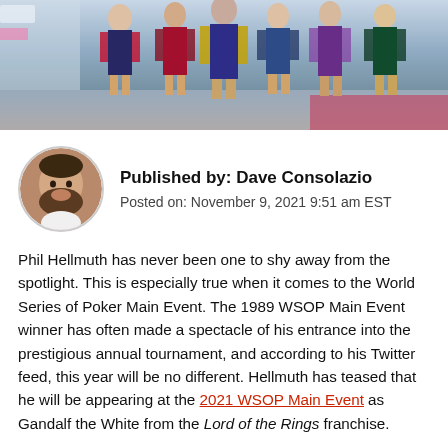[Figure (photo): Banner photo showing a group of people in costumes, appearing to be at a casino or event venue. Several women in superhero-style outfits with capes are visible, standing on what appears to a polished floor.]
Published by: Dave Consolazio
Posted on: November 9, 2021 9:51 am EST
Phil Hellmuth has never been one to shy away from the spotlight. This is especially true when it comes to the World Series of Poker Main Event. The 1989 WSOP Main Event winner has often made a spectacle of his entrance into the prestigious annual tournament, and according to his Twitter feed, this year will be no different. Hellmuth has teased that he will be appearing at the 2021 WSOP Main Event as Gandalf the White from the Lord of the Rings franchise.
Phil Hellmuth is the master of